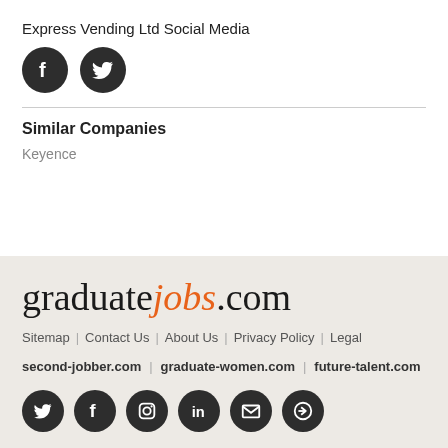Express Vending Ltd Social Media
[Figure (illustration): Facebook and Twitter social media icons (dark circular buttons)]
Similar Companies
Keyence
[Figure (logo): graduatejobs.com logo in serif font with 'jobs' in orange italic]
Sitemap | Contact Us | About Us | Privacy Policy | Legal
second-jobber.com | graduate-women.com | future-talent.com
[Figure (illustration): Social media icons row: Twitter, Facebook, Instagram, LinkedIn, Email, Login]